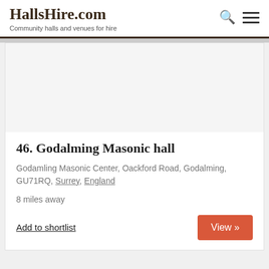HallsHire.com — Community halls and venues for hire
46. Godalming Masonic hall
Godamling Masonic Center, Oackford Road, Godalming, GU71RQ, Surrey, England
8 miles away
Add to shortlist
View »